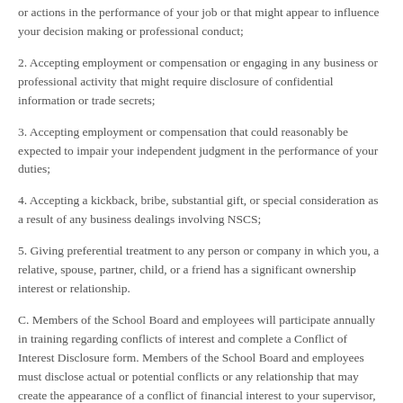or actions in the performance of your job or that might appear to influence your decision making or professional conduct;
2. Accepting employment or compensation or engaging in any business or professional activity that might require disclosure of confidential information or trade secrets;
3. Accepting employment or compensation that could reasonably be expected to impair your independent judgment in the performance of your duties;
4. Accepting a kickback, bribe, substantial gift, or special consideration as a result of any business dealings involving NSCS;
5. Giving preferential treatment to any person or company in which you, a relative, spouse, partner, child, or a friend has a significant ownership interest or relationship.
C. Members of the School Board and employees will participate annually in training regarding conflicts of interest and complete a Conflict of Interest Disclosure form. Members of the School Board and employees must disclose actual or potential conflicts or any relationship that may create the appearance of a conflict of financial interest to your supervisor, in writing, as soon as you